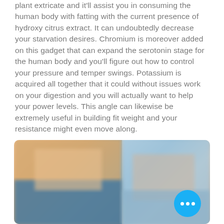plant extricate and it'll assist you in consuming the human body with fatting with the current presence of hydroxy citrus extract. It can undoubtedly decrease your starvation desires. Chromium is moreover added on this gadget that can expand the serotonin stage for the human body and you'll figure out how to control your pressure and temper swings. Potassium is acquired all together that it could without issues work on your digestion and you will actually want to help your power levels. This angle can likewise be extremely useful in building fit weight and your resistance might even move along.
[Figure (photo): Blurred photo showing a person exercising or doing physical therapy, with warm/blue tones. A blue circular button with three white dots is overlaid in the bottom right corner.]